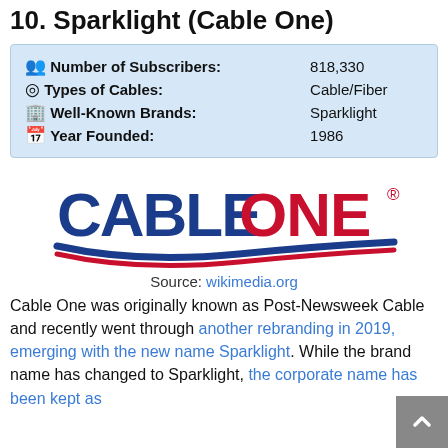10. Sparklight (Cable One)
| Number of Subscribers: | 818,330 |
| Types of Cables: | Cable/Fiber |
| Well-Known Brands: | Sparklight |
| Year Founded: | 1986 |
[Figure (logo): Cable One logo with blue CABLE and red ONE text and swoosh graphic]
Source: wikimedia.org
Cable One was originally known as Post-Newsweek Cable and recently went through another rebranding in 2019, emerging with the new name Sparklight. While the brand name has changed to Sparklight, the corporate name has been kept as